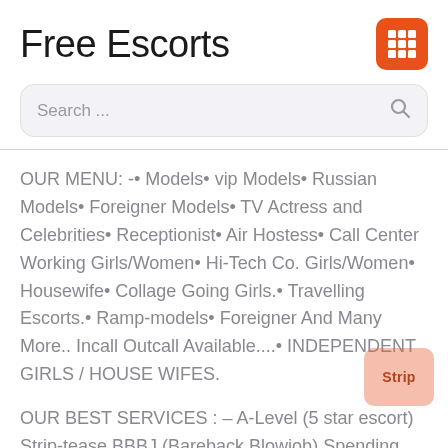Free Escorts
[Figure (other): Orange grid/menu icon button in top right corner]
Search ...
OUR MENU: -• Models• vip Models• Russian Models• Foreigner Models• TV Actress and Celebrities• Receptionist• Air Hostess• Call Center Working Girls/Women• Hi-Tech Co. Girls/Women• Housewife• Collage Going Girls.• Travelling Escorts.• Ramp-models• Foreigner And Many More.. Incall Outcall Available....• INDEPENDENT GIRLS / HOUSE WIFES.
OUR BEST SERVICES : – A-Level (5 star escort) Strip-tease BBBJ (Bareback Blowjob) Spending time in my rooms BJ (Blowjob Without a Condom) COF (Come On Face) Completion (Oral to completion)